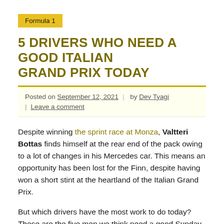Formula 1
5 DRIVERS WHO NEED A GOOD ITALIAN GRAND PRIX TODAY
Posted on September 12, 2021 | by Dev Tyagi | Leave a comment
Despite winning the sprint race at Monza, Valtteri Bottas finds himself at the rear end of the pack owing to a lot of changes in his Mercedes car. This means an opportunity has been lost for the Finn, despite having won a short stint at the heartland of the Italian Grand Prix.
But which drivers have the most work to do today? These are the five men we think need a good Sunday